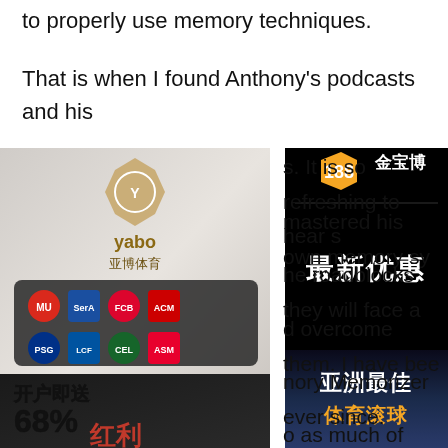to properly use memory techniques.
That is when I found Anthony's podcasts and his
s. It is so refreshing to hear s
mastered his own memory sy
he roadblocks they will face a
d overcome them. I have bee
nory Memorizer ever since.
o as much of Anthony's mat
from studying, and even with
implementing some of his te
started to notice tremendous
[Figure (advertisement): Yabo sports betting advertisement with logo, league badges, and 68% bonus promotion in Chinese]
[Figure (advertisement): 188 Jin Bao Bo sports betting advertisement in Chinese with orange hexagon logo and latest offers text]